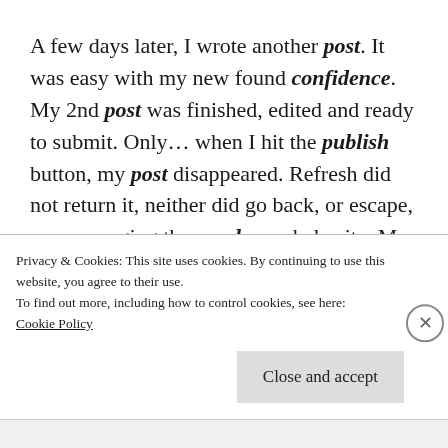A few days later, I wrote another post. It was easy with my new found confidence. My 2nd post was finished, edited and ready to submit. Only… when I hit the publish button, my post disappeared. Refresh did not return it, neither did go back, or escape, nor messaging the wordpress help site. My brilliant work was gone forever! Hours of work were lost.
Privacy & Cookies: This site uses cookies. By continuing to use this website, you agree to their use.
To find out more, including how to control cookies, see here:
Cookie Policy
Close and accept